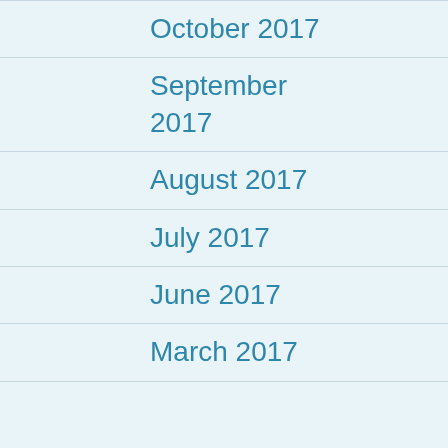October 2017
September 2017
August 2017
July 2017
June 2017
March 2017